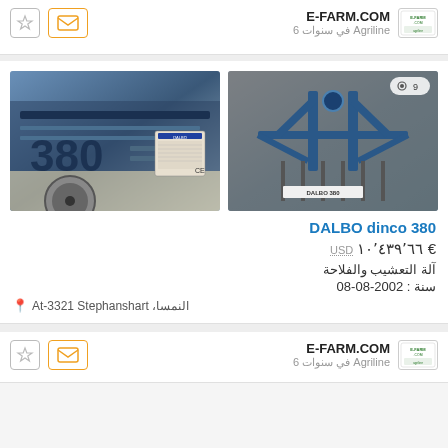E-FARM.COM
6 سنوات في Agriline
[Figure (photo): Close-up photo of blue DALBO dinco 380 farm equipment showing the number 380 and a manufacturer label with CE marking]
[Figure (photo): Photo of blue DALBO dinco 380 cultivator/tillage equipment viewed from behind in a barn, showing the frame and tines. Badge shows number 9.]
DALBO dinco 380
€ ١٠٬٤٣٩٬٦٦  USD
آلة التعشيب والفلاحة
سنة : 2002-08-08
النمسا، At-3321 Stephanshart
E-FARM.COM
6 سنوات في Agriline